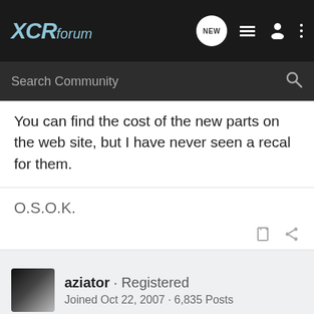XCRforum
You can find the cost of the new parts on the web site, but I have never seen a recal for them.
O.S.O.K.
aziator · Registered
Joined Oct 22, 2007 · 6,835 Posts
#12   Dec 22, 2007